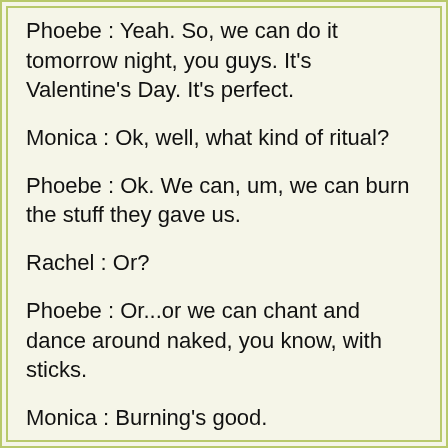Phoebe : Yeah. So, we can do it tomorrow night, you guys. It's Valentine's Day. It's perfect.
Monica : Ok, well, what kind of ritual?
Phoebe : Ok. We can, um, we can burn the stuff they gave us.
Rachel : Or?
Phoebe : Or...or we can chant and dance around naked, you know, with sticks.
Monica : Burning's good.
Rachel : Burning's good. Yeah...
Les chansons similaires